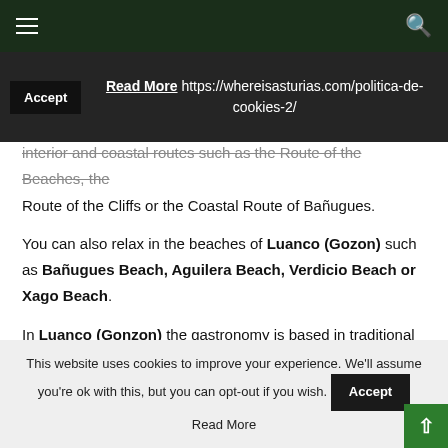Navigation bar with hamburger menu and search icon
Accept  Read More https://whereisasturias.com/politica-de-cookies-2/
interior and coastal routes such as the Route of the Beaches, the Route of the Cliffs or the Coastal Route of Bañugues.
You can also relax in the beaches of Luanco (Gozon) such as Bañugues Beach, Aguilera Beach, Verdicio Beach or Xago Beach.
In Luanco (Gonzon) the gastronomy is based in traditional Asturian food and you can enjoy very tasty fresh fish and shellfish.
This website uses cookies to improve your experience. We'll assume you're ok with this, but you can opt-out if you wish. Accept Read More